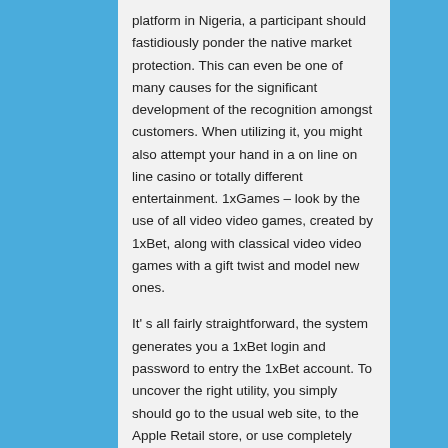platform in Nigeria, a participant should fastidiously ponder the native market protection. This can even be one of many causes for the significant development of the recognition amongst customers. When utilizing it, you might also attempt your hand in a on line on line casino or totally different entertainment. 1xGames – look by the use of all video video games, created by 1xBet, along with classical video video games with a gift twist and model new ones.
It' s all fairly straightforward, the system generates you a 1xBet login and password to entry the 1xBet account. To uncover the right utility, you simply should go to the usual web site, to the Apple Retail store, or use completely